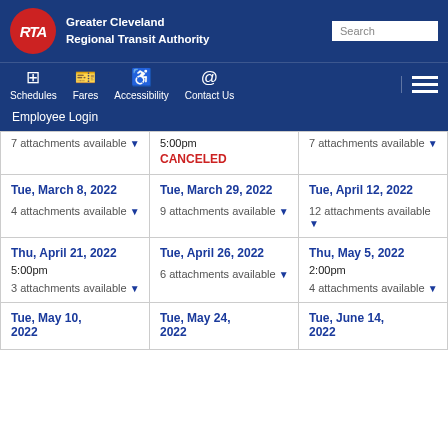Greater Cleveland Regional Transit Authority
| Column 1 | Column 2 | Column 3 |
| --- | --- | --- |
| 7 attachments available | 5:00pm CANCELED | 7 attachments available |
| Tue, March 8, 2022
4 attachments available | Tue, March 29, 2022
9 attachments available | Tue, April 12, 2022
12 attachments available |
| Thu, April 21, 2022
5:00pm
3 attachments available | Tue, April 26, 2022
6 attachments available | Thu, May 5, 2022
2:00pm
4 attachments available |
| Tue, May 10, 2022 | Tue, May 24, 2022 | Tue, June 14, 2022 |